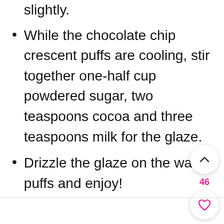Remove from pan and cool just slightly.
While the chocolate chip crescent puffs are cooling, stir together one-half cup powdered sugar, two teaspoons cocoa and three teaspoons milk for the glaze.
Drizzle the glaze on the warm puffs and enjoy!